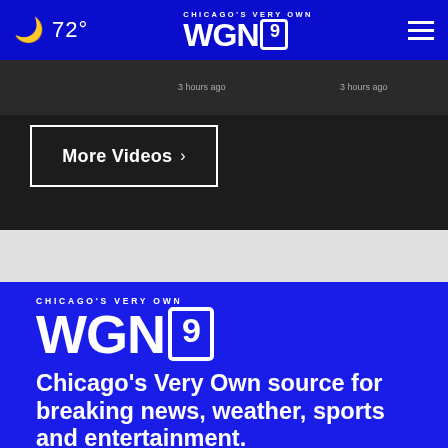🌙 72° | CHICAGO'S VERY OWN WGN9 | ≡
3 hours ago   3 hours ago
More Videos ›
[Figure (logo): WGN9 Chicago's Very Own logo in white on blue background]
Chicago's Very Own source for breaking news, weather, sports and entertainment.